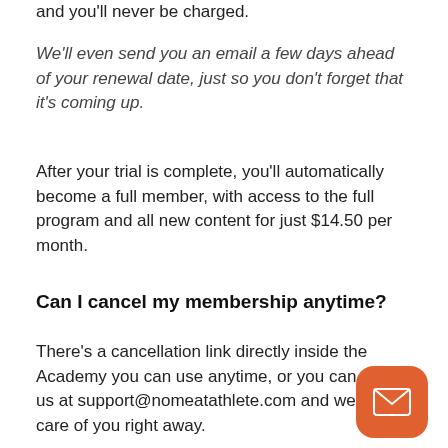and you'll never be charged.
We'll even send you an email a few days ahead of your renewal date, just so you don't forget that it's coming up.
After your trial is complete, you'll automatically become a full member, with access to the full program and all new content for just $14.50 per month.
Can I cancel my membership anytime?
There's a cancellation link directly inside the Academy you can use anytime, or you can email us at support@nomeatathlete.com and we'll take care of you right away.